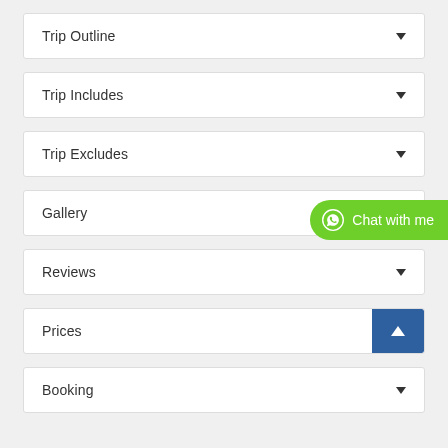Trip Outline
Trip Includes
Trip Excludes
Gallery
[Figure (other): WhatsApp Chat with me button, green rounded pill shape on right side]
Reviews
Prices
Booking